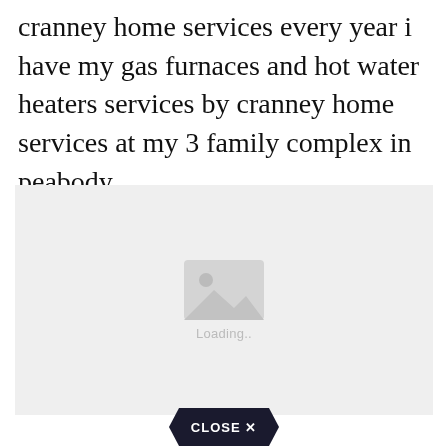cranney home services every year i have my gas furnaces and hot water heaters services by cranney home services at my 3 family complex in peabody.
[Figure (other): Image loading placeholder with a grey background, a generic image icon (mountain/photo icon), and 'Loading..' text beneath it.]
[Figure (other): A 'CLOSE X' button rendered as a dark pentagon/arrow shape with white bold text.]